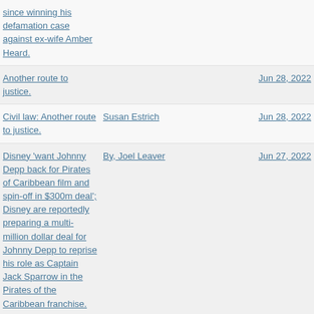since winning his defamation case against ex-wife Amber Heard.
Another route to justice. | Jun 28, 2022
Civil law: Another route to justice. | Susan Estrich | Jun 28, 2022
Disney 'want Johnny Depp back for Pirates of Caribbean film and spin-off in $300m deal'; Disney are reportedly preparing a multi-million dollar deal for Johnny Depp to reprise his role as Captain Jack Sparrow in the Pirates of the Caribbean franchise. | By, Joel Leaver | Jun 27, 2022